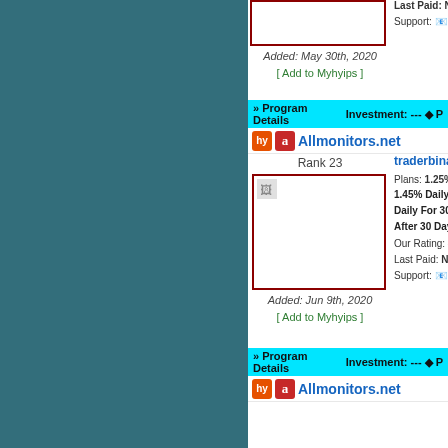[Figure (other): Program listing image box (top, dark red border, broken image)]
Added: May 30th, 2020
[ Add to Myhyips ]
Last Paid: No Payo…
Support: |
» Program Details   Investment: --- ◆ P
Allmonitors.net
Rank 23
[Figure (other): traderbinarybots program listing image (dark red border, broken image icon)]
Added: Jun 9th, 2020
[ Add to Myhyips ]
traderbinarybots
Plans: 1.25% Daily F
1.45% Daily For 20 D
Daily For 30 Days / …
After 30 Days
Our Rating: ☆☆☆
Last Paid: No Payout
Support: 📧 |
» Program Details   Investment: --- ◆ P
Allmonitors.net